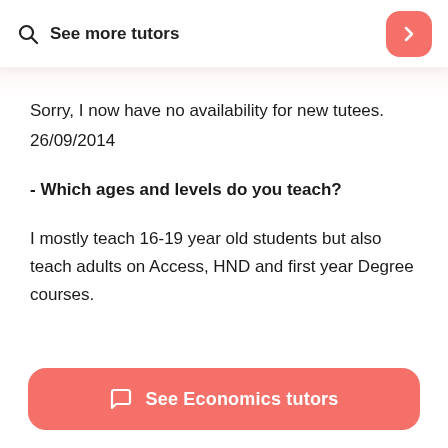See more tutors
Sorry, I now have no availability for new tutees. 26/09/2014
- Which ages and levels do you teach?
I mostly teach 16-19 year old students but also teach adults on Access, HND and first year Degree courses.
See Economics tutors